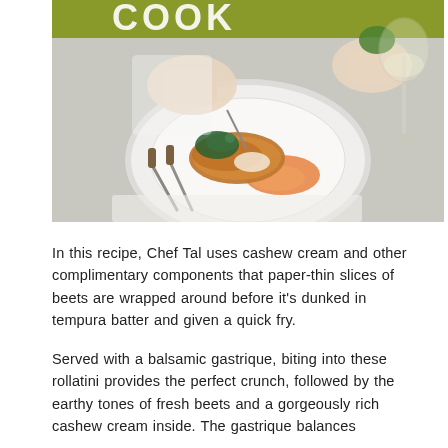[Figure (photo): A chef plating an elegantly presented dish on a white plate — appears to be a crusted fish or protein with orange puree and greens, accompanied by a wine glass on the right and silverware on the left. Green and olive-toned banner at top with partial text 'COOK'.]
In this recipe, Chef Tal uses cashew cream and other complimentary components that paper-thin slices of beets are wrapped around before it's dunked in tempura batter and given a quick fry.
Served with a balsamic gastrique, biting into these rollatini provides the perfect crunch, followed by the earthy tones of fresh beets and a gorgeously rich cashew cream inside. The gastrique balances